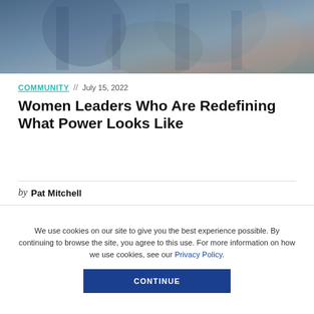[Figure (photo): Blurred hero image showing people in an urban or office setting with muted blue and neutral tones]
COMMUNITY  //  July 15, 2022
Women Leaders Who Are Redefining What Power Looks Like
by Pat Mitchell
We use cookies on our site to give you the best experience possible. By continuing to browse the site, you agree to this use. For more information on how we use cookies, see our Privacy Policy.
CONTINUE